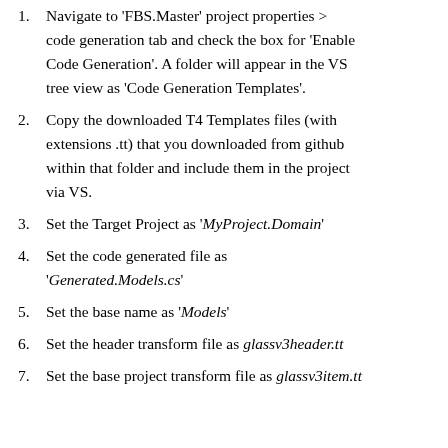Navigate to 'FBS.Master' project properties > code generation tab and check the box for 'Enable Code Generation'. A folder will appear in the VS tree view as 'Code Generation Templates'.
Copy the downloaded T4 Templates files (with extensions .tt) that you downloaded from github within that folder and include them in the project via VS.
Set the Target Project as 'MyProject.Domain'
Set the code generated file as 'Generated.Models.cs'
Set the base name as 'Models'
Set the header transform file as glassv3header.tt
Set the base project transform file as glassv3item.tt